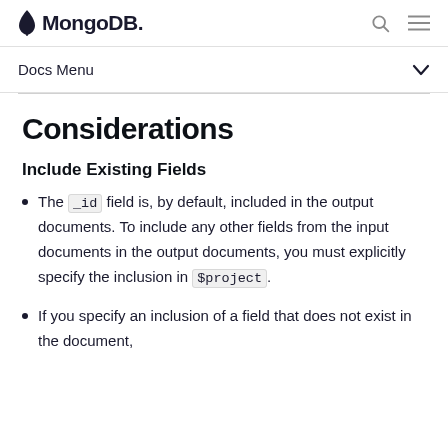MongoDB
Docs Menu
Considerations
Include Existing Fields
The _id field is, by default, included in the output documents. To include any other fields from the input documents in the output documents, you must explicitly specify the inclusion in $project.
If you specify an inclusion of a field that does not exist in the document,